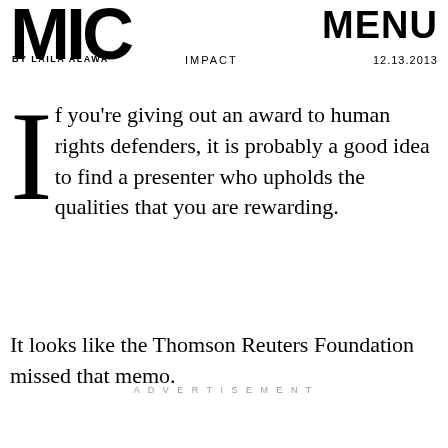MIC — BY LAILA ALAWA — IMPACT — MENU — 12.13.2013
If you're giving out an award to human rights defenders, it is probably a good idea to find a presenter who upholds the qualities that you are rewarding.
It looks like the Thomson Reuters Foundation missed that memo.
ADVERTISEMENT